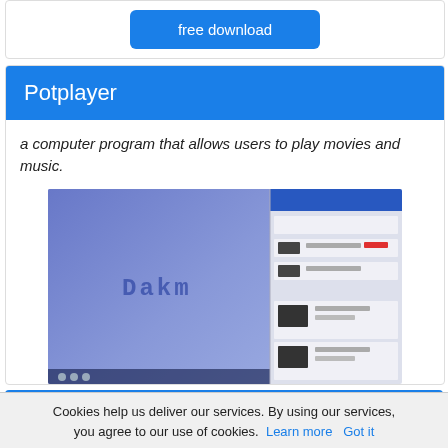[Figure (screenshot): A 'free download' button (blue, rounded rectangle) at top of page, part of a card above the visible area]
Potplayer
a computer program that allows users to play movies and music.
[Figure (screenshot): Screenshot of Potplayer media player application showing a blue interface with logo on the left and a playlist/library panel on the right]
[Figure (other): free download button (blue rounded rectangle)]
HUPlayer
Cookies help us deliver our services. By using our services, you agree to our use of cookies. Learn more  Got it